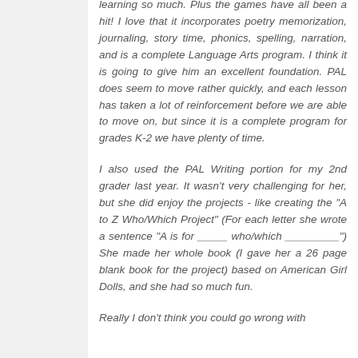learning so much. Plus the games have all been a hit! I love that it incorporates poetry memorization, journaling, story time, phonics, spelling, narration, and is a complete Language Arts program. I think it is going to give him an excellent foundation. PAL does seem to move rather quickly, and each lesson has taken a lot of reinforcement before we are able to move on, but since it is a complete program for grades K-2 we have plenty of time.
I also used the PAL Writing portion for my 2nd grader last year. It wasn't very challenging for her, but she did enjoy the projects - like creating the "A to Z Who/Which Project" (For each letter she wrote a sentence "A is for _____ who/which _________") She made her whole book (I gave her a 26 page blank book for the project) based on American Girl Dolls, and she had so much fun.
Really I don't think you could go wrong with